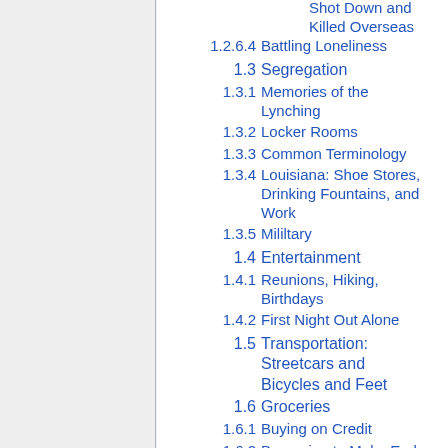Shot Down and Killed Overseas
1.2.6.4  Battling Loneliness
1.3  Segregation
1.3.1  Memories of the Lynching
1.3.2  Locker Rooms
1.3.3  Common Terminology
1.3.4  Louisiana: Shoe Stores, Drinking Fountains, and Work
1.3.5  Mililtary
1.4  Entertainment
1.4.1  Reunions, Hiking, Birthdays
1.4.2  First Night Out Alone
1.5  Transportation: Streetcars and Bicycles and Feet
1.6  Groceries
1.6.1  Buying on Credit
1.6.2  Borrowing to Make Ends